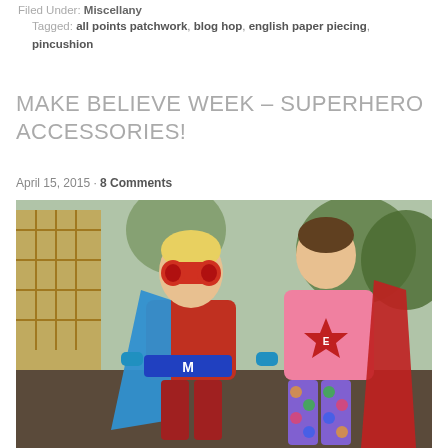Filed Under: Miscellany
Tagged: all points patchwork, blog hop, english paper piecing, pincushion
MAKE BELIEVE WEEK – SUPERHERO ACCESSORIES!
April 15, 2015 · 8 Comments
[Figure (photo): Two children dressed as superheroes outdoors. The child on the left is wearing a red mask, blue cape, and a belt with the letter M. The child on the right is wearing a pink shirt with a red star badge showing the letter E and a red cape, with colorful patterned leggings.]